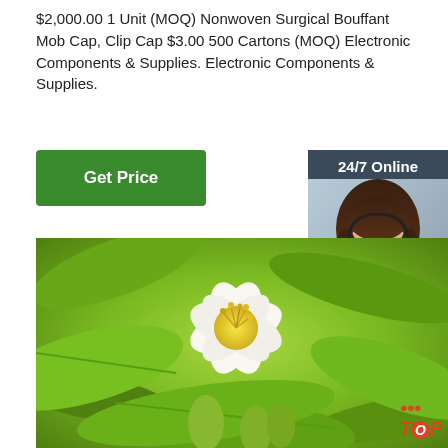$2,000.00 1 Unit (MOQ) Nonwoven Surgical Bouffant Mob Cap, Clip Cap $3.00 500 Cartons (MOQ) Electronic Components & Supplies. Electronic Components & Supplies.
[Figure (other): Green 'Get Price' button]
[Figure (other): Sidebar with '24/7 Online' header, photo of smiling woman with headset, 'Click here for free chat!' text, and orange 'QUOTATION' button on dark blue-grey background]
[Figure (photo): Close-up photograph of a white flower with yellow stamens surrounded by bright green leaves]